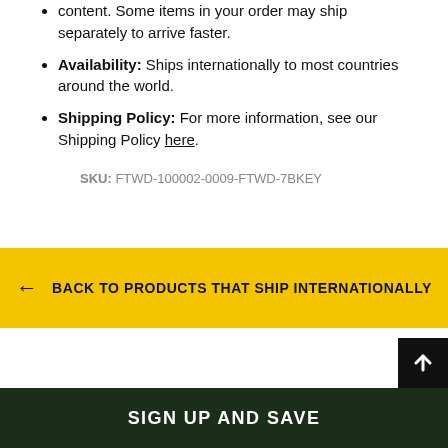content. Some items in your order may ship separately to arrive faster.
Availability: Ships internationally to most countries around the world.
Shipping Policy: For more information, see our Shipping Policy here.
SKU: FTWD-100002-0009-FTWD-7BKEY
← BACK TO PRODUCTS THAT SHIP INTERNATIONALLY
SIGN UP AND SAVE